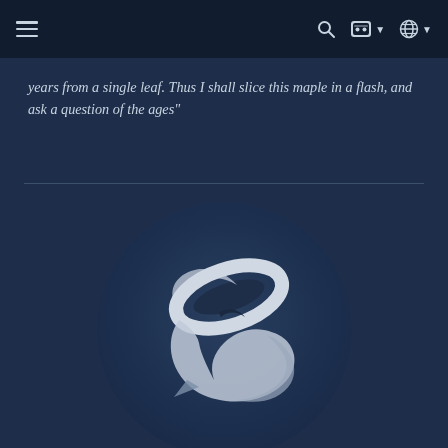Navigation bar with hamburger menu, search icon, Discord icon with dropdown, and globe/language icon with dropdown
years from a single leaf. Thus I shall slice this maple in a flash, and ask a question of the ages"
[Figure (logo): Circular logo featuring a stylized swooping bird or abstract wing/rocket shape in white and grey tones on a dark navy blue circular background]